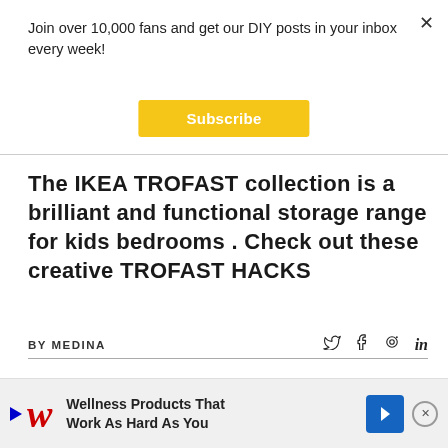Join over 10,000 fans and get our DIY posts in your inbox every week!
Subscribe
The IKEA TROFAST collection is a brilliant and functional storage range for kids bedrooms . Check out these creative TROFAST HACKS
BY MEDINA
The IKEA TROFAST collection is a brilliant and functional storage range for kids . Check out t you and
[Figure (infographic): Advertisement banner: Walgreens ad with text 'Wellness Products That Work As Hard As You', blue diamond arrow icon, and close button]